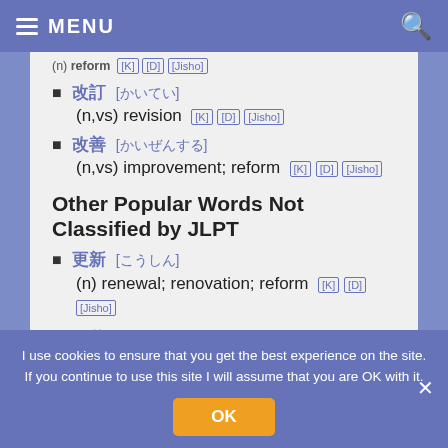MENU
(n) reform [K] [D] [Jisho]
改訂 [かいてい] (n,vs) revision [K] [D] [Jisho]
改善 [かいぜんする] (n,vs) improvement; reform [K] [D] [Jisho]
Other Popular Words Not Classified by JLPT
更新 [こうしん] (n) renewal; renovation; reform [K] [D] [Jisho]
改革 [かいかく]
I use cookies to ensure that you get the best experience on the site. If you continue to use this site I will assume that you are OK with it.
OK